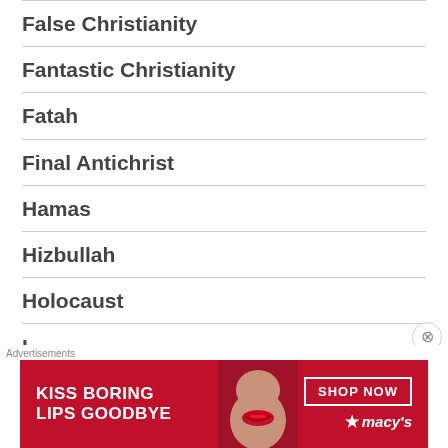False Christianity
Fantastic Christianity
Fatah
Final Antichrist
Hamas
Hizbullah
Holocaust
I...
[Figure (other): Advertisement banner: Macy's lip product ad reading 'KISS BORING LIPS GOODBYE' with a woman's face and red lips, SHOP NOW button and Macy's star logo]